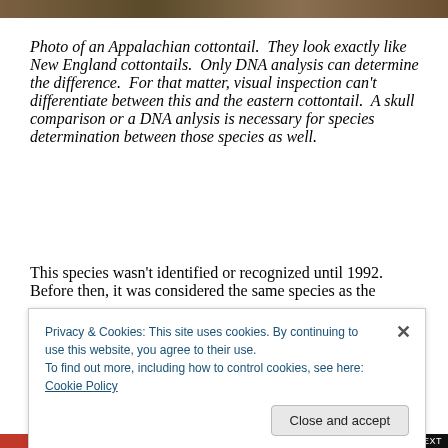[Figure (photo): Photo strip at top of page showing an Appalachian cottontail rabbit]
Photo of an Appalachian cottontail.  They look exactly like New England cottontails.  Only DNA analysis can determine the difference.  For that matter, visual inspection can't differentiate between this and the eastern cottontail.  A skull comparison or a DNA anlysis is necessary for species determination between those species as well.
This species wasn't identified or recognized until 1992.  Before then, it was considered the same species as the
Privacy & Cookies: This site uses cookies. By continuing to use this website, you agree to their use.
To find out more, including how to control cookies, see here: Cookie Policy